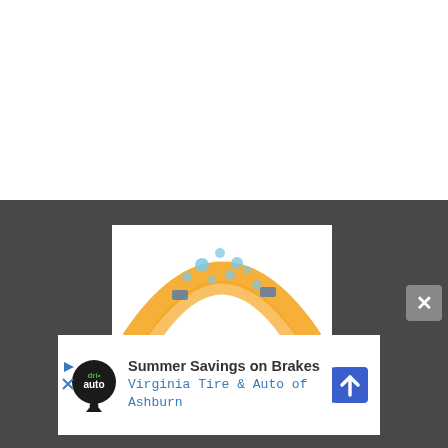[Figure (illustration): White blank area at top of page above a horizontal dividing line]
[Figure (infographic): Dark gray background section with advertisement overlays. Top ad shows orange circular spray/bubble graphic. Bottom ad shows 'Drive Auto' logo with text 'Summer Savings on Brakes' and 'Virginia Tire & Auto of Ashburn' with blue navigation arrow icon and close X button.]
Summer Savings on Brakes
Virginia Tire & Auto of Ashburn